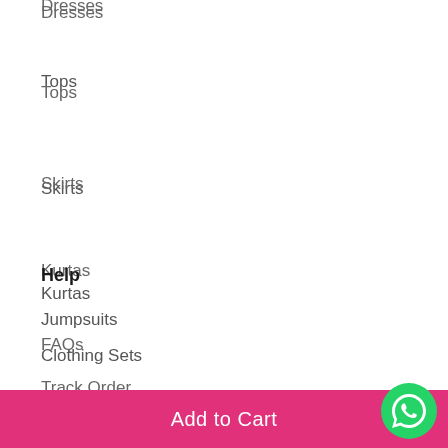Dresses
Tops
Skirts
Kurtas
Clothing Sets
Jumpsuits
Help
FAQs
Track Order
Add to Cart